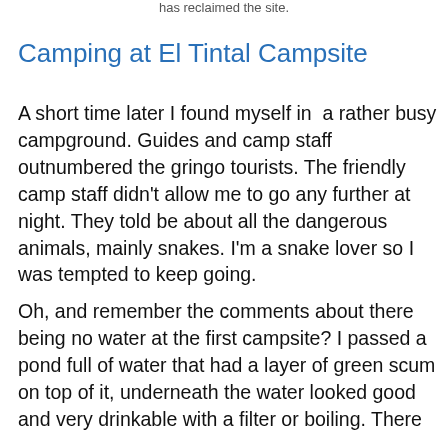has reclaimed the site.
Camping at El Tintal Campsite
A short time later I found myself in  a rather busy campground. Guides and camp staff outnumbered the gringo tourists. The friendly camp staff didn't allow me to go any further at night. They told be about all the dangerous animals, mainly snakes. I'm a snake lover so I was tempted to keep going.
Oh, and remember the comments about there being no water at the first campsite? I passed a pond full of water that had a layer of green scum on top of it, underneath the water looked good and very drinkable with a filter or boiling. There